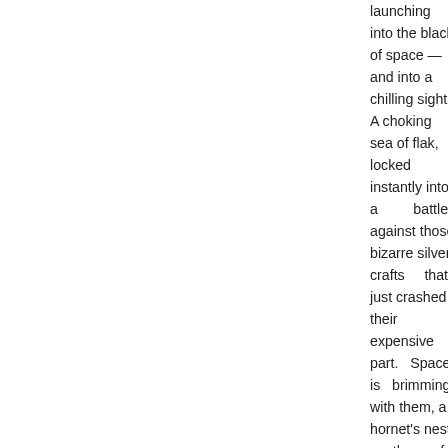launching into the black of space — and into a chilling sight. A choking sea of flak, locked instantly into a battle against those bizarre silver crafts that just crashed their expensive part. Space is brimming with them, a hornet's nest worth of bright and black streaks racing through the